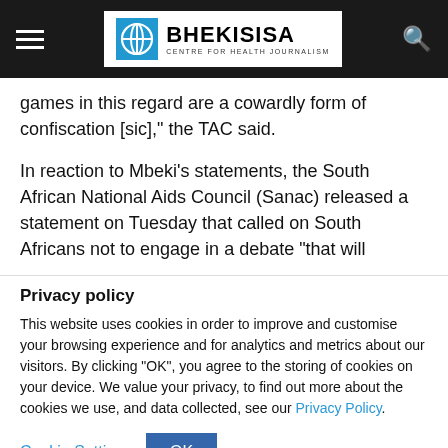Bhekisisa Centre for Health Journalism
games in this regard are a cowardly form of confiscation [sic]," the TAC said.
In reaction to Mbeki's statements, the South African National Aids Council (Sanac) released a statement on Tuesday that called on South Africans not to engage in a debate "that will
Privacy policy
This website uses cookies in order to improve and customise your browsing experience and for analytics and metrics about our visitors. By clicking "OK", you agree to the storing of cookies on your device. We value your privacy, to find out more about the cookies we use, and data collected, see our Privacy Policy.
Cookie Settings   OK